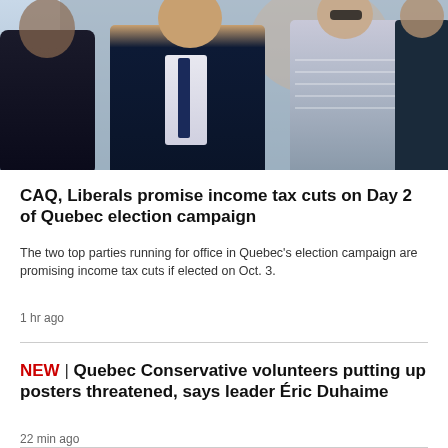[Figure (photo): Group of people in formal attire, including a man in a dark suit with a tie walking in the foreground, a woman in a striped outfit, and others in suits in the background. Appears to be outdoors at a political or official event.]
CAQ, Liberals promise income tax cuts on Day 2 of Quebec election campaign
The two top parties running for office in Quebec's election campaign are promising income tax cuts if elected on Oct. 3.
1 hr ago
NEW | Quebec Conservative volunteers putting up posters threatened, says leader Éric Duhaime
22 min ago